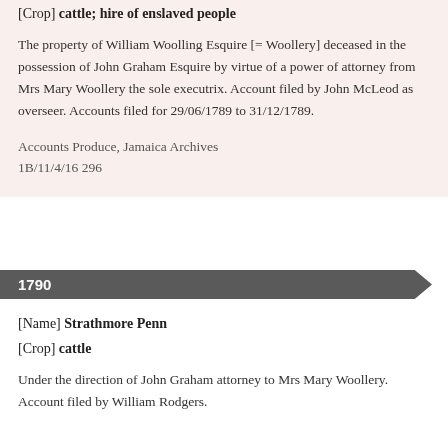[Crop] cattle; hire of enslaved people
The property of William Woolling Esquire [= Woollery] deceased in the possession of John Graham Esquire by virtue of a power of attorney from Mrs Mary Woollery the sole executrix. Account filed by John McLeod as overseer. Accounts filed for 29/06/1789 to 31/12/1789.
Accounts Produce, Jamaica Archives
1B/11/4/16 296
1790
[Name] Strathmore Penn
[Crop] cattle
Under the direction of John Graham attorney to Mrs Mary Woollery. Account filed by William Rodgers.